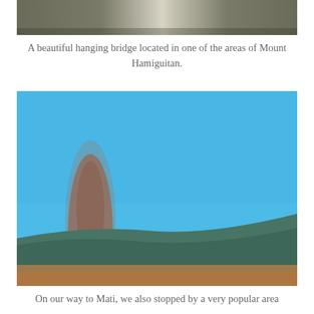[Figure (photo): Top portion of a photo showing a hanging bridge area at Mount Hamiguitan — blurred image with grey/brown tones and a bright vertical light strip in the center.]
A beautiful hanging bridge located in one of the areas of Mount Hamiguitan.
[Figure (photo): A blurred outdoor photo with a bright blue sky, a brownish vertical figure/post on the left side, and a dark greenish hill/ridge in the lower right portion. Sandy/earthy orange-brown color at the bottom.]
On our way to Mati, we also stopped by a very popular area